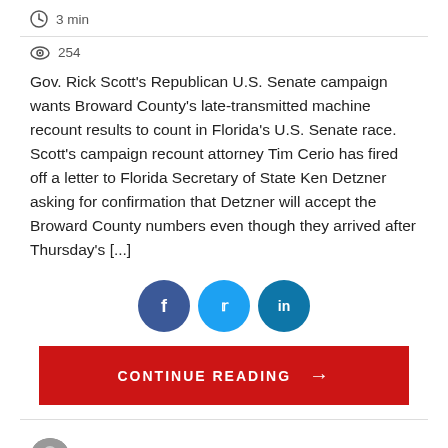3 min
254
Gov. Rick Scott's Republican U.S. Senate campaign wants Broward County's late-transmitted machine recount results to count in Florida's U.S. Senate race. Scott's campaign recount attorney Tim Cerio has fired off a letter to Florida Secretary of State Ken Detzner asking for confirmation that Detzner will accept the Broward County numbers even though they arrived after Thursday's [...]
[Figure (infographic): Social share buttons: Facebook (dark blue circle with f), Twitter (light blue circle with bird icon t), LinkedIn (teal circle with in)]
[Figure (infographic): Red button labeled CONTINUE READING with right arrow]
Scott Powers   November 15, 2018